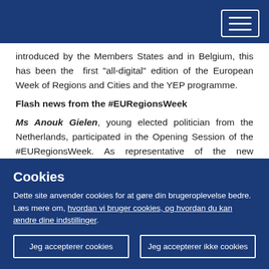introduced by the Members States and in Belgium, this has been the first "all-digital" edition of the European Week of Regions and Cities and the YEP programme.
Flash news from the #EURegionsWeek
Ms Anouk Gielen, young elected politician from the Netherlands, participated in the Opening Session of the #EURegionsWeek. As representative of the new generation of politicians, she contributed to the debate on "Cohesion for a Greener Europe" together with Apostolos
Cookies
Dette site anvender cookies for at gøre din brugeroplevelse bedre. Læs mere om, hvordan vi bruger cookies, og hvordan du kan ændre dine indstillinger.
Jeg accepterer cookies
Jeg accepterer ikke cookies